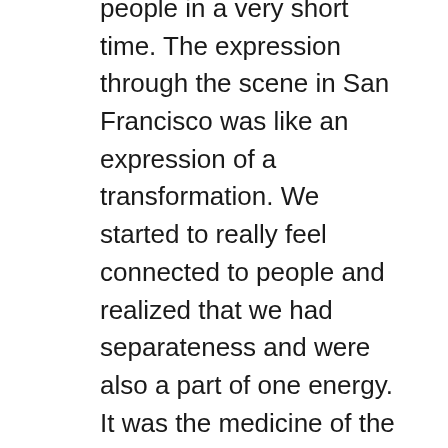people in a very short time. The expression through the scene in San Francisco was like an expression of a transformation. We started to really feel connected to people and realized that we had separateness and were also a part of one energy. It was the medicine of the time that woke people up to the interconnectivity. All of these things became expressions of this awareness.
We took the produce that supermarkets were putting in their dumpsters and went to Golden Gate Park and made food with it to feed people. We started free clinics.... We wanted to take care of each other.
AN: How old were you when you moved to San Francisco?